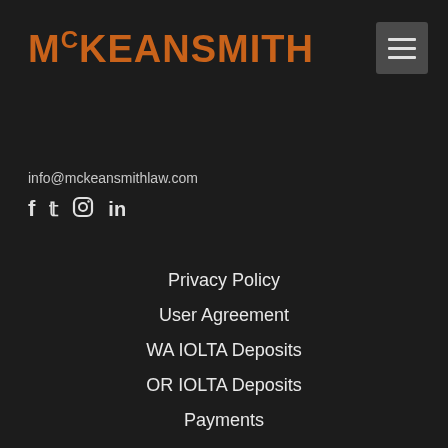[Figure (logo): McKeanSmith law firm logo in orange/burnt orange color on dark background]
info@mckeansmithlaw.com
[Figure (infographic): Social media icons: Facebook, Twitter, Instagram, LinkedIn in white/light gray]
Privacy Policy
User Agreement
WA IOLTA Deposits
OR IOLTA Deposits
Payments